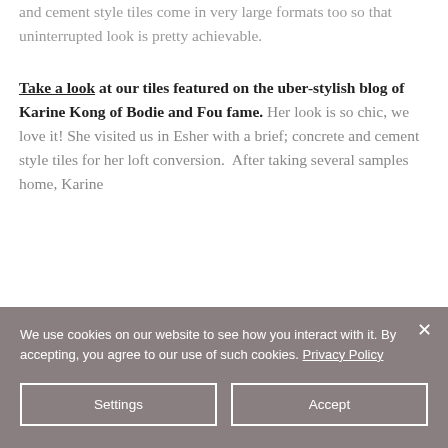and cement style tiles come in very large formats too so that uninterrupted look is pretty achievable. Take a look at our tiles featured on the uber-stylish blog of Karine Kong of Bodie and Fou fame. Her look is so chic, we love it! She visited us in Esher with a brief; concrete and cement style tiles for her loft conversion. After taking several samples home, Karine
We use cookies on our website to see how you interact with it. By accepting, you agree to our use of such cookies. Privacy Policy